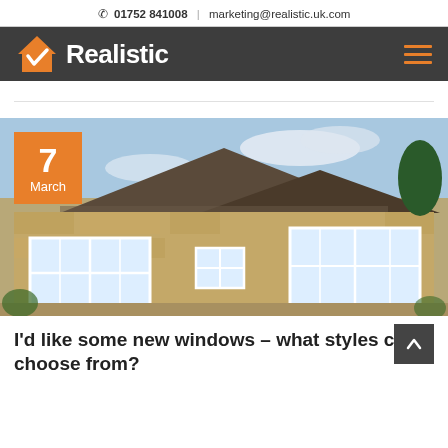☎ 01752 841008  |  marketing@realistic.uk.com
[Figure (logo): Realistic company logo with orange house checkmark icon and white bold text 'Realistic' on dark grey background, with orange hamburger menu icon on right]
[Figure (photo): Exterior photo of a traditional stone cottage with white-framed windows and a tiled roof. An orange date badge overlay in the top-left corner reads '7 March'.]
I'd like some new windows – what styles can I choose from?